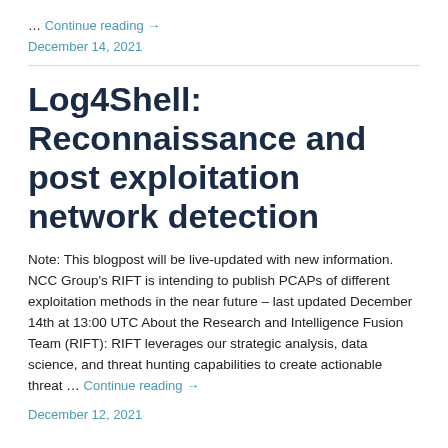… Continue reading →
December 14, 2021
Log4Shell: Reconnaissance and post exploitation network detection
Note: This blogpost will be live-updated with new information. NCC Group's RIFT is intending to publish PCAPs of different exploitation methods in the near future – last updated December 14th at 13:00 UTC About the Research and Intelligence Fusion Team (RIFT): RIFT leverages our strategic analysis, data science, and threat hunting capabilities to create actionable threat … Continue reading →
December 12, 2021